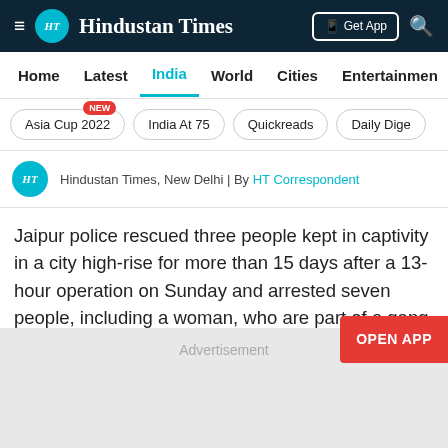Hindustan Times
Home | Latest | India | World | Cities | Entertainment
Asia Cup 2022 NEW
India At 75
Quickreads
Daily Dige
Hindustan Times, New Delhi | By HT Correspondent
Jaipur police rescued three people kept in captivity in a city high-rise for more than 15 days after a 13-hour operation on Sunday and arrested seven people, including a woman, who are part of a gang involved in multiple cases of kidn extortion, loot and robbery.
Advertisement